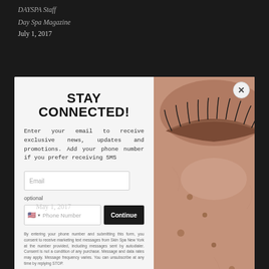DAYSPA Staff
Day Spa Magazine
July 1, 2017
STAY CONNECTED!
Enter your email to receive exclusive news, updates and promotions. Add your phone number if you prefer receiving SMS
Email
optional
Phone Number
Continue
By entering your phone number and submitting this form, you consent to receive marketing text messages from Skin Spa New York at the number provided, including messages sent by autodialer. Consent is not a condition of any purchase. Message and data rates may apply. Message frequency varies. You can unsubscribe at any time by replying STOP.
View our Privacy Policy and Terms of Service.
[Figure (photo): Close-up of a person's face with closed eye, showing skin texture with freckles and long eyelashes, warm skin tones]
May 1, 2017